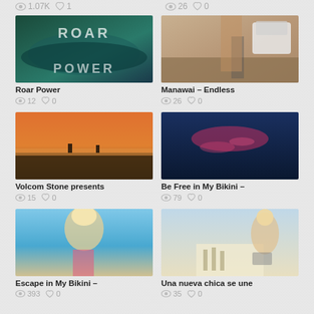[Figure (screenshot): Top stats row showing 1.07K views, 1 like (left) and 26 views, 0 likes (right)]
[Figure (photo): Surfer inside a large wave with 'ROAR POWER' text overlay]
[Figure (photo): Person in shorts walking near a white jeep on a rocky beach]
Roar Power
12 views 0 likes
Manawai – Endless
26 views 0 likes
[Figure (photo): Silhouette of two people on a dock at sunset over water]
[Figure (photo): Woman in pink bikini swimming underwater in dark blue water]
Volcom Stone presents
15 views 0 likes
Be Free in My Bikini –
79 views 0 likes
[Figure (photo): Blonde woman in pink bikini smiling at tropical beach]
[Figure (photo): Woman in striped dress holding surfboard on sandy beach]
Escape in My Bikini –
393 views 0 likes
Una nueva chica se une
35 views 0 likes